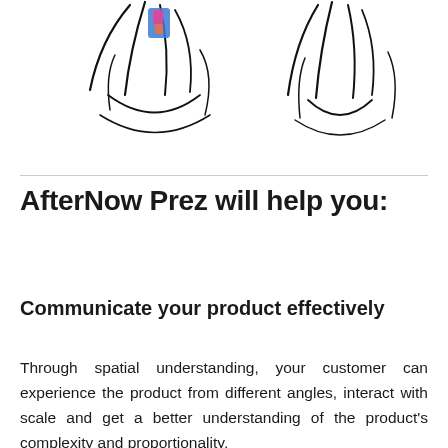[Figure (illustration): Two hand-drawn sketch illustrations of human figures at top of page, the left figure appears to hold a colorful object]
AfterNow Prez will help you:
Communicate your product effectively
Through spatial understanding, your customer can experience the product from different angles, interact with scale and get a better understanding of the product's complexity and proportionality.